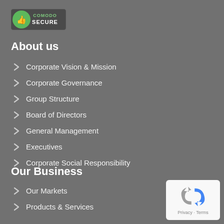[Figure (logo): Comodo Secure badge - green shield with thumbs up icon and text COMODO SECURE]
About us
Corporate Vision & Mission
Corporate Governance
Group Structure
Board of Directors
General Management
Executives
Corporate Social Responsibility
Our Business
Our Markets
Products & Services
[Figure (logo): Google reCAPTCHA badge with Privacy and Terms links]